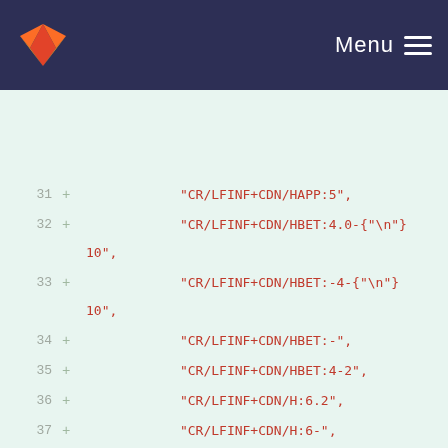GitLab Menu
[Figure (screenshot): Code diff view showing lines 31-47 of a Python file with git additions (+) highlighted in a teal/green background. Lines show string values like 'CR/LFINF+CDN/HAPP:5', 'CR/LFINF+CDN/HBET:4.0-10', and other CDN strings, followed by closing brackets and an assignment to expected_num_storeys_min = numpy.array(]